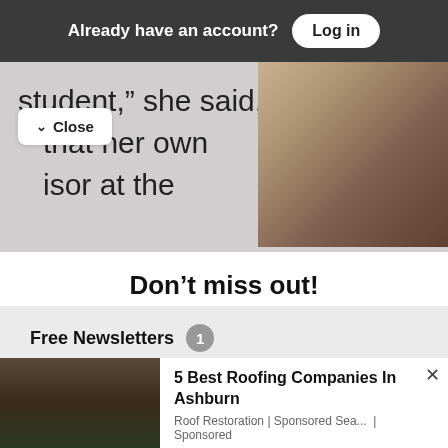Already have an account? Log in
student,” she said, … that her own … isor at the
∧  Close
Don’t miss out!
Everything Southern Maryland, in your inbox each a.m.
Free Newsletters  1
✓  Daily Digest
A roundup of the latest news
5 Best Roofing Companies In Ashburn
Roof Restoration | Sponsored Sea... | Sponsored